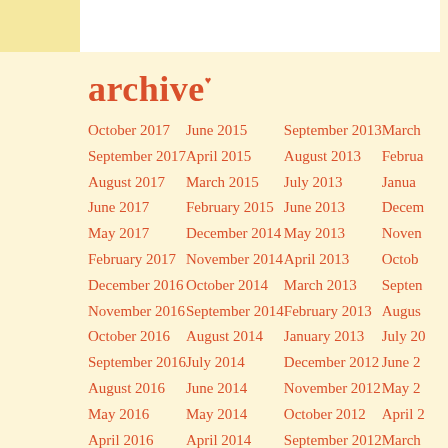archive
October 2017
September 2017
August 2017
June 2017
May 2017
February 2017
December 2016
November 2016
October 2016
September 2016
August 2016
May 2016
April 2016
February 2016
January 2016
December 2015
October 2015
June 2015
April 2015
March 2015
February 2015
December 2014
November 2014
October 2014
September 2014
August 2014
July 2014
June 2014
May 2014
April 2014
March 2014
February 2014
January 2014
November 2013
September 2013
August 2013
July 2013
June 2013
May 2013
April 2013
March 2013
February 2013
January 2013
December 2012
November 2012
October 2012
September 2012
August 2012
July 2012
June 2012
May 2012
March (partial)
February (partial)
January (partial)
December (partial)
November (partial)
October (partial)
September (partial)
August (partial)
July 20(partial)
June 2(partial)
May 2(partial)
April 2(partial)
March(partial)
February(partial)
January(partial)